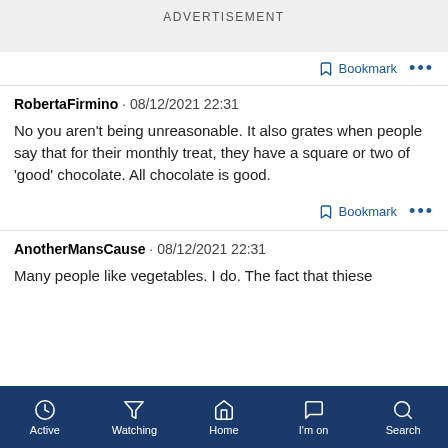ADVERTISEMENT
Bookmark ...
RobertaFirmino · 08/12/2021 22:31
No you aren't being unreasonable. It also grates when people say that for their monthly treat, they have a square or two of 'good' chocolate. All chocolate is good.
Bookmark ...
AnotherMansCause · 08/12/2021 22:31
Many people like vegetables. I do. The fact that thiese
Active  Watching  Home  I'm on  Search